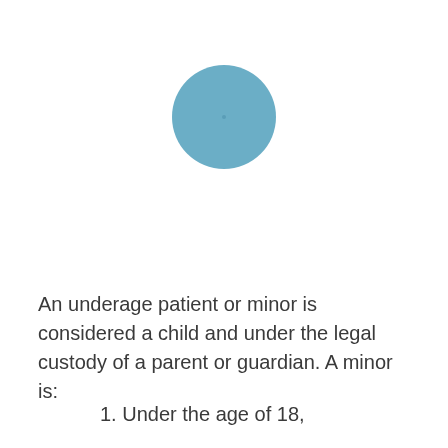[Figure (illustration): A teal/steel-blue filled circle, centered near the top of the page, representing an icon or decorative graphic.]
An underage patient or minor is considered a child and under the legal custody of a parent or guardian. A minor is:
1. Under the age of 18,